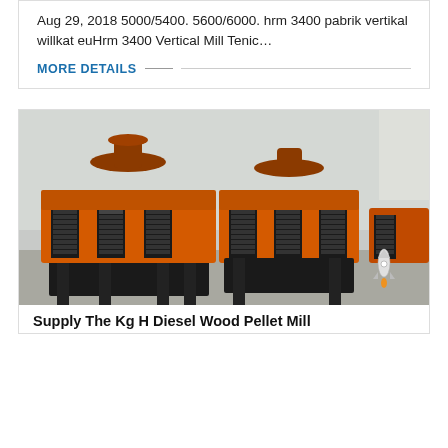Aug 29, 2018 5000/5400. 5600/6000. hrm 3400 pabrik vertikal willkat euHrm 3400 Vertical Mill Tenic…
MORE DETAILS
[Figure (photo): Large orange industrial mill/crusher machine with black spring coils and metal frame supports, shown in a factory/warehouse setting]
Supply The Kg H Diesel Wood Pellet Mill